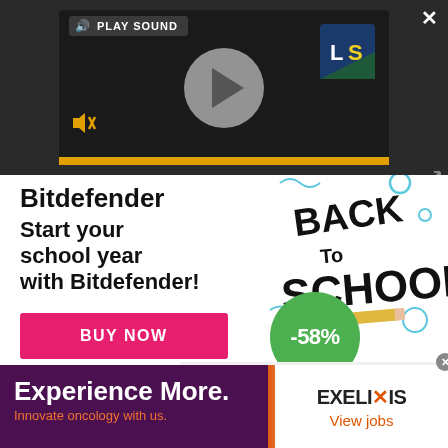[Figure (screenshot): Video player overlay with play button circle, sound icon labeled PLAY SOUND, LS logo, mute icon, and yellow progress bar at bottom]
[Figure (screenshot): Bitdefender Back to School advertisement showing bold text 'Start your school year with Bitdefender!', a red BUY NOW button, Back To School hand-lettered illustration, and a green circle badge showing -58% discount]
[Figure (screenshot): Exelixis job advertisement banner: left side dark purple background with text 'Experience More.' and 'Innovate oncology with us.', right side white with EXELIXIS logo and 'View jobs' link]